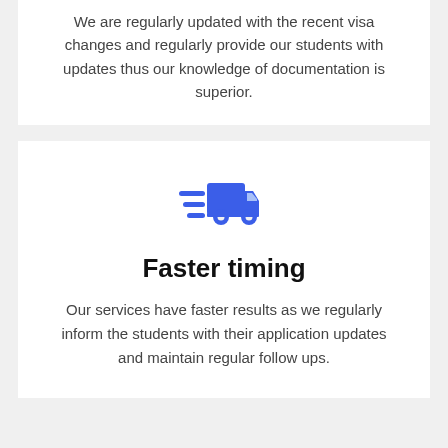We are regularly updated with the recent visa changes and regularly provide our students with updates thus our knowledge of documentation is superior.
[Figure (illustration): Blue delivery truck icon with speed lines suggesting fast delivery]
Faster timing
Our services have faster results as we regularly inform the students with their application updates and maintain regular follow ups.